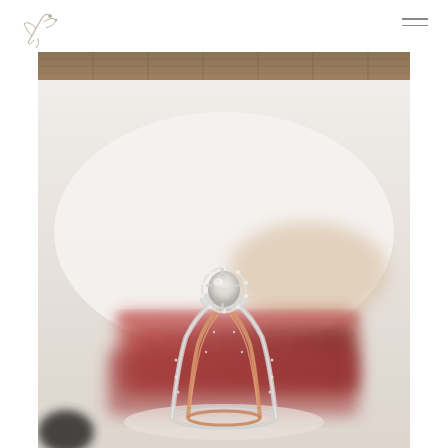[Figure (photo): Close-up photograph of elegant diamond engagement rings (one silver/white gold with halo diamond setting, one rose gold with delicate band) displayed upright, with blurred red ring boxes and a wooden plank background in soft bokeh. The rings are centered in the lower portion of the image.]